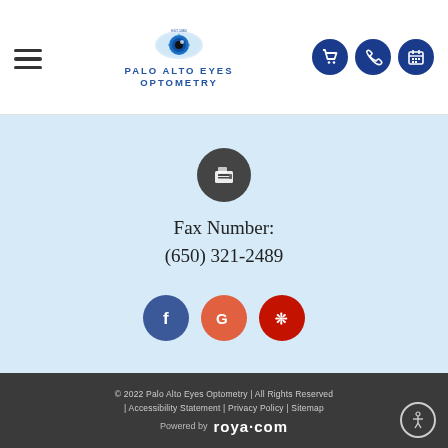[Figure (logo): Palo Alto Eyes Optometry logo with eye graphic and text]
Fax Number:
(650) 321-2489
[Figure (illustration): Social media icons: Facebook, Google, Yelp]
© 2022 Palo Alto Eyes Optometry | All Rights Reserved | Accessibility Statement | Privacy Policy | Sitemap
Powered by roya·com